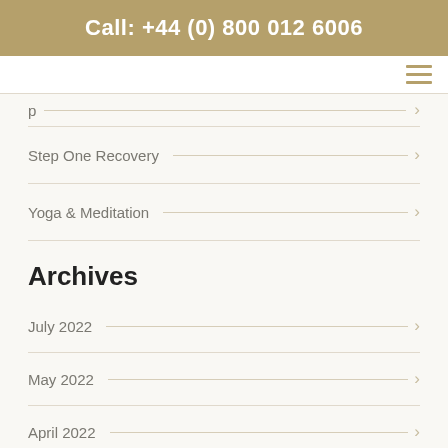Call: +44 (0) 800 012 6006
Step One Recovery
Yoga & Meditation
Archives
July 2022
May 2022
April 2022